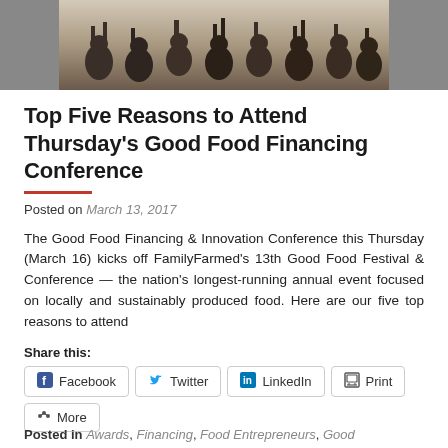[Figure (photo): Group photo of people at an event, cropped to show upper portion with raised hands/objects]
Top Five Reasons to Attend Thursday's Good Food Financing Conference
Posted on March 13, 2017
The Good Food Financing & Innovation Conference this Thursday (March 16) kicks off FamilyFarmed's 13th Good Food Festival & Conference — the nation's longest-running annual event focused on locally and sustainably produced food. Here are our five top reasons to attend
Share this:
Posted in Awards, Financing, Food Entrepreneurs, Good